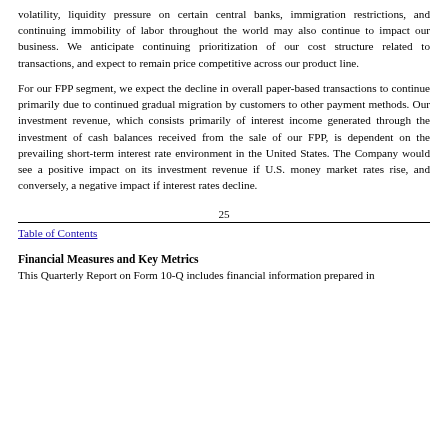volatility, liquidity pressure on certain central banks, immigration restrictions, and continuing immobility of labor throughout the world may also continue to impact our business. We anticipate continuing prioritization of our cost structure related to transactions, and expect to remain price competitive across our product line.
For our FPP segment, we expect the decline in overall paper-based transactions to continue primarily due to continued gradual migration by customers to other payment methods. Our investment revenue, which consists primarily of interest income generated through the investment of cash balances received from the sale of our FPP, is dependent on the prevailing short-term interest rate environment in the United States. The Company would see a positive impact on its investment revenue if U.S. money market rates rise, and conversely, a negative impact if interest rates decline.
25
Table of Contents
Financial Measures and Key Metrics
This Quarterly Report on Form 10-Q includes financial information prepared in